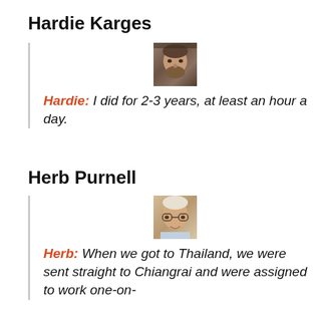Hardie Karges
[Figure (photo): Small portrait photo of Hardie Karges, a man with facial hair]
Hardie: I did for 2-3 years, at least an hour a day.
Herb Purnell
[Figure (photo): Small portrait photo of Herb Purnell, an older man with glasses]
Herb: When we got to Thailand, we were sent straight to Chiangrai and were assigned to work one-on-